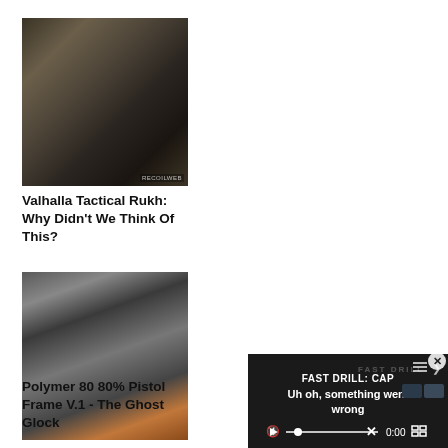[Figure (photo): Close-up photo of a firearm scope/optic mounted on a rail, with RECOILWEB watermark in bottom right]
Valhalla Tactical Rukh: Why Didn't We Think Of This?
[Figure (photo): Two pistols side by side - one dark/black and one tan/FDE colored with a red magazine base, Polymer 80 ghost Glock frames]
Polymer 80 80% Pistol Frame V.1 - The Ghost Glock
[Figure (screenshot): Embedded video player with dark background showing 'FAST DRILL: CAP' as title and 'Uh oh, something went wrong' error message, video controls showing 0:00 timestamp, play button, mute icon, and close X button]